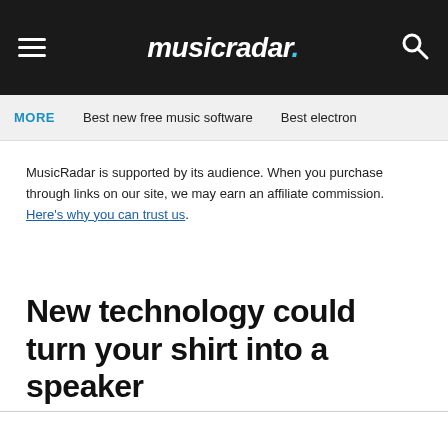musicradar.
MORE  Best new free music software  Best electron
MusicRadar is supported by its audience. When you purchase through links on our site, we may earn an affiliate commission. Here's why you can trust us.
New technology could turn your shirt into a speaker